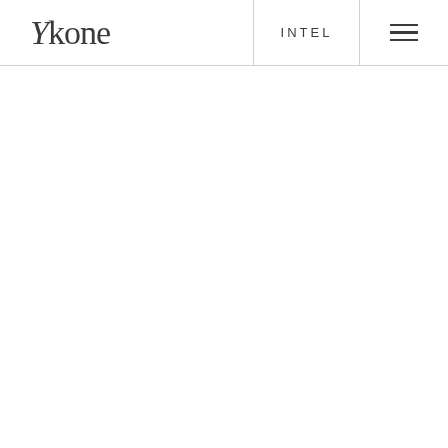[Figure (logo): Ykone brand logo in serif typeface with italic Y]
INTEL
[Figure (other): Hamburger menu icon with three horizontal lines]